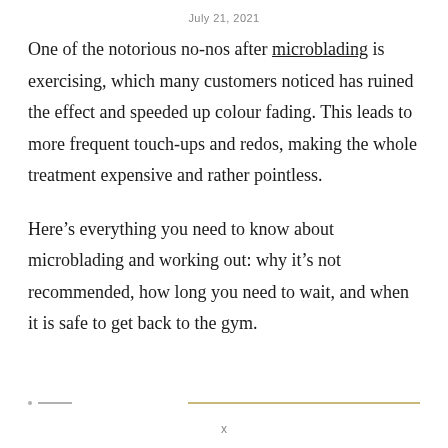July 21, 2021
One of the notorious no-nos after microblading is exercising, which many customers noticed has ruined the effect and speeded up colour fading. This leads to more frequent touch-ups and redos, making the whole treatment expensive and rather pointless.
Here’s everything you need to know about microblading and working out: why it’s not recommended, how long you need to wait, and when it is safe to get back to the gym.